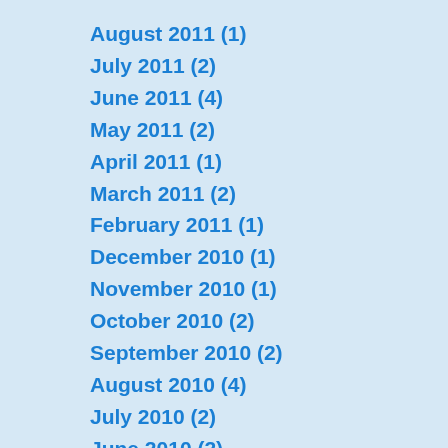August 2011 (1)
July 2011 (2)
June 2011 (4)
May 2011 (2)
April 2011 (1)
March 2011 (2)
February 2011 (1)
December 2010 (1)
November 2010 (1)
October 2010 (2)
September 2010 (2)
August 2010 (4)
July 2010 (2)
June 2010 (2)
May 2010 (2)
April 2010 (2)
March 2010 (2)
February 2010 (2)
January 2010 (1)